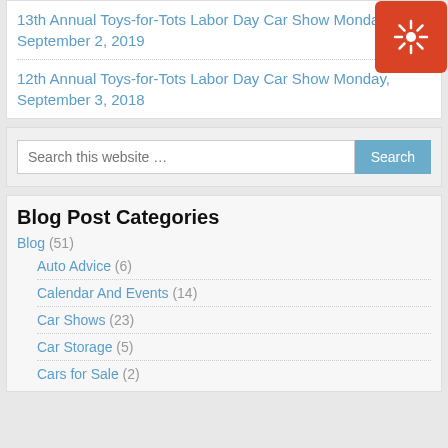13th Annual Toys-for-Tots Labor Day Car Show Monday, September 2, 2019
12th Annual Toys-for-Tots Labor Day Car Show Monday, September 3, 2018
[Figure (logo): Red rounded square badge with white sun/asterisk icon]
Search this website …
Blog Post Categories
Blog (51)
Auto Advice (6)
Calendar And Events (14)
Car Shows (23)
Car Storage (5)
Cars for Sale (2)